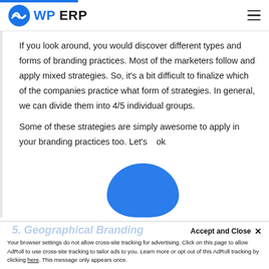WP ERP
If you look around, you would discover different types and forms of branding practices. Most of the marketers follow and apply mixed strategies. So, it's a bit difficult to finalize which of the companies practice what form of strategies. In general, we can divide them into 4/5 individual groups.
Some of these strategies are simply awesome to apply in your branding practices too. Let's…k
Accept and Close ✕
Your browser settings do not allow cross-site tracking for advertising. Click on this page to allow AdRoll to use cross-site tracking to tailor ads to you. Learn more or opt out of this AdRoll tracking by clicking here. This message only appears once.